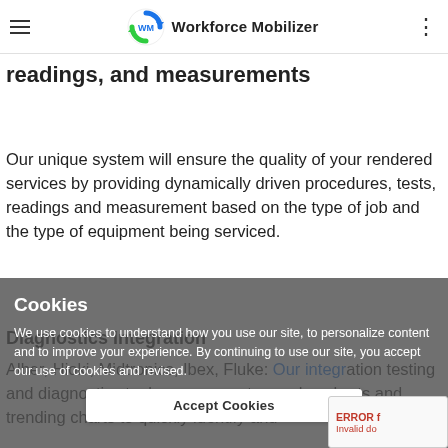Workforce Mobilizer
readings, and measurements
Our unique system will ensure the quality of your rendered services by providing dynamically driven procedures, tests, readings and measurement based on the type of job and the type of equipment being serviced.
Diagnostics Integration
Alber, Hioki, Midtronics, Ibex, Fluke: Our integration testing and diagnostics tools can generate graphs, charts and trending charts to quickly identify and
Cookies

We use cookies to understand how you use our site, to personalize content and to improve your experience. By continuing to use our site, you accept our use of cookies and revised.

Accept Cookies